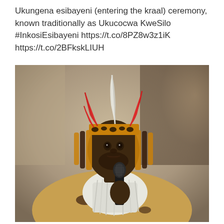Ukungena esibayeni (entering the kraal) ceremony, known traditionally as Ukucocwa KweSilo #InkosiEsibayeni https://t.co/8PZ8w3z1iK https://t.co/2BFkskLIUH
[Figure (photo): A man wearing traditional Zulu royal attire including a leopard-skin headband decorated with red and white feathers, a white fur garment, and holding a black microphone. He is speaking at what appears to be a ceremonial event. The background is blurred with warm tones.]